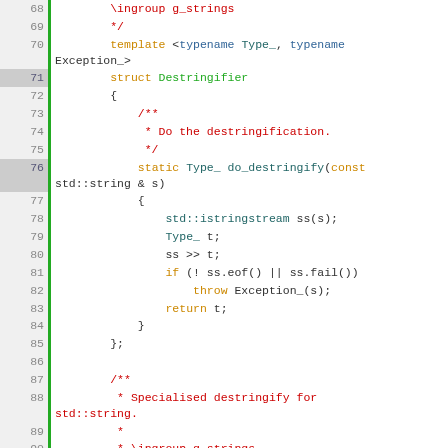[Figure (screenshot): Source code listing in C++ with syntax highlighting, showing lines 68-98 of a file. Line numbers in left gutter with green vertical bar. Keywords in orange, types in teal, comments in red, identifiers in dark colors on white background.]